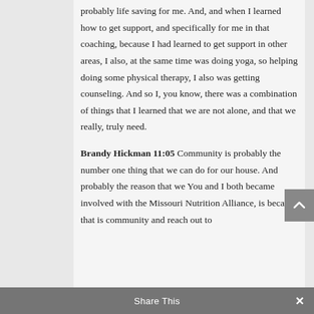probably life saving for me. And, and when I learned how to get support, and specifically for me in that coaching, because I had learned to get support in other areas, I also, at the same time was doing yoga, so helping doing some physical therapy, I also was getting counseling. And so I, you know, there was a combination of things that I learned that we are not alone, and that we really, truly need.
Brandy Hickman 11:05 Community is probably the number one thing that we can do for our house. And probably the reason that we You and I both became involved with the Missouri Nutrition Alliance, is because that is community and reach out to
Share This